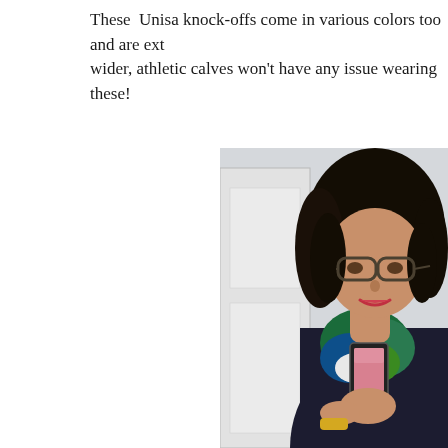These Unisa knock-offs come in various colors too and are extr... wider, athletic calves won't have any issue wearing these!
[Figure (photo): A woman with dark curly hair and glasses taking a mirror selfie with her phone. She is wearing a dark jacket over a colorful teal/green patterned scarf. She is smiling and appears to be in a room with a white wall and door panel visible in the background.]